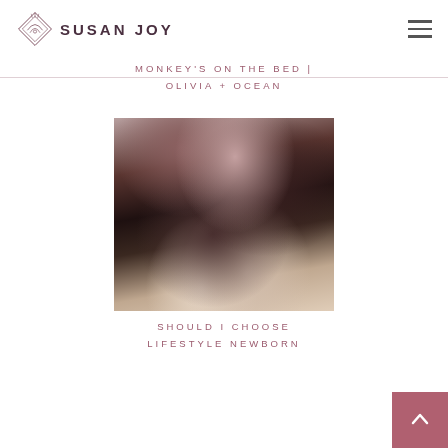SUSAN JOY
MONKEY'S ON THE BED | OLIVIA + OCEAN
[Figure (photo): Close-up photo of parents leaning over and kissing their newborn baby, with father wearing a dark outfit and mother with long dark hair, intimate lifestyle newborn photography]
SHOULD I CHOOSE LIFESTYLE NEWBORN